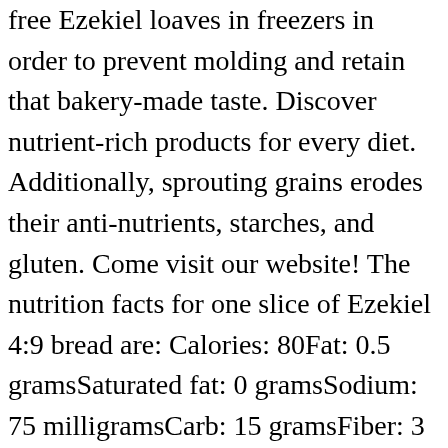free Ezekiel loaves in freezers in order to prevent molding and retain that bakery-made taste. Discover nutrient-rich products for every diet. Additionally, sprouting grains erodes their anti-nutrients, starches, and gluten. Come visit our website! The nutrition facts for one slice of Ezekiel 4:9 bread are: Calories: 80Fat: 0.5 gramsSaturated fat: 0 gramsSodium: 75 milligramsCarb: 15 gramsFiber: 3 gramsSugar: 0 gramsProtein: 4 grams. Ezekiel 4:9 It’s this special, unique combination of 6 grains and legumes that harvests benefits beyond what we